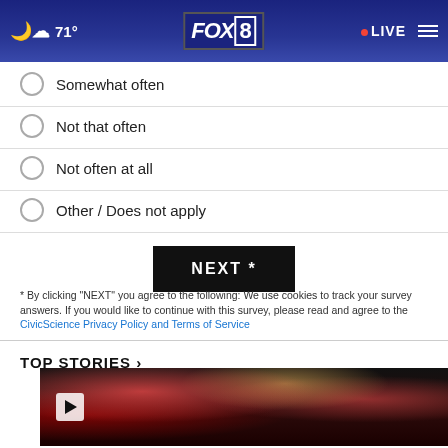FOX 8 | 71° | LIVE
Somewhat often
Not that often
Not often at all
Other / Does not apply
NEXT *
* By clicking "NEXT" you agree to the following: We use cookies to track your survey answers. If you would like to continue with this survey, please read and agree to the CivicScience Privacy Policy and Terms of Service
TOP STORIES ›
[Figure (photo): Video thumbnail showing ambulance with emergency lights at night, with a play button overlay]